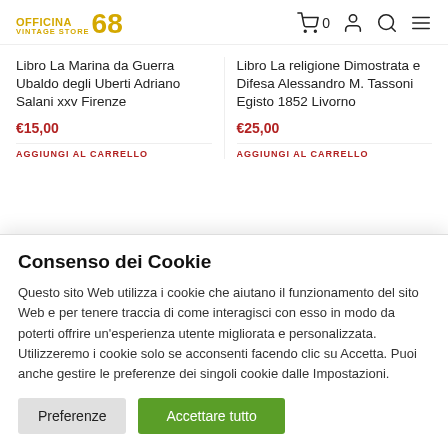OFFICINA 68 VINTAGE STORE
Libro La Marina da Guerra Ubaldo degli Uberti Adriano Salani xxv Firenze
€15,00
AGGIUNGI AL CARRELLO
Libro La religione Dimostrata e Difesa Alessandro M. Tassoni Egisto 1852 Livorno
€25,00
AGGIUNGI AL CARRELLO
Consenso dei Cookie
Questo sito Web utilizza i cookie che aiutano il funzionamento del sito Web e per tenere traccia di come interagisci con esso in modo da poterti offrire un'esperienza utente migliorata e personalizzata. Utilizzeremo i cookie solo se acconsenti facendo clic su Accetta. Puoi anche gestire le preferenze dei singoli cookie dalle Impostazioni.
Preferenze
Accettare tutto